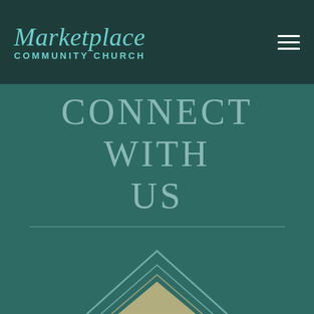Marketplace Community Church
CONNECT WITH US
[Figure (logo): Marketplace Community Church logo mark — overlapping chevron/house shapes in gold and teal outline, partially visible at bottom of page]